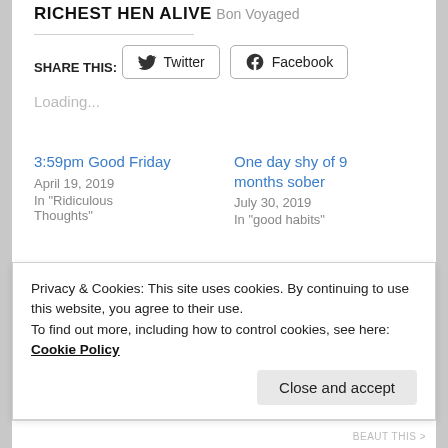RICHEST HEN ALIVE
Bon Voyaged
SHARE THIS:
[Figure (other): Twitter and Facebook share buttons]
Loading...
3:59pm Good Friday
April 19, 2019
In "Ridiculous Thoughts"
One day shy of 9 months sober
July 30, 2019
In "good habits"
Privacy & Cookies: This site uses cookies. By continuing to use this website, you agree to their use.
To find out more, including how to control cookies, see here: Cookie Policy
Close and accept